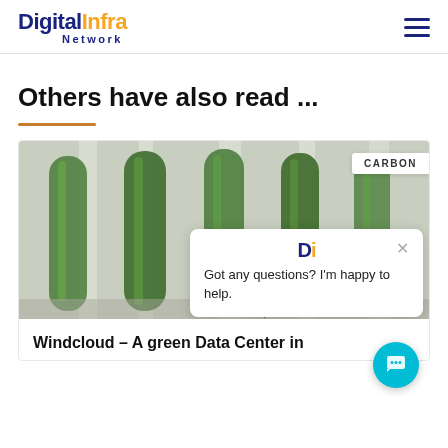Digital Infra Network
Others have also read ...
[Figure (photo): Photo of green algae or plant specimens growing in tall transparent cylindrical containers, displayed in a white exhibition or lab setting. A white popup chat widget is overlaid on the right side showing a DI logo and the text 'Got any questions? I'm happy to help.' with an X close button. A CARBON label badge appears top right of the image. A teal circular chat button appears at the bottom right.]
Windcloud – A green Data Center in